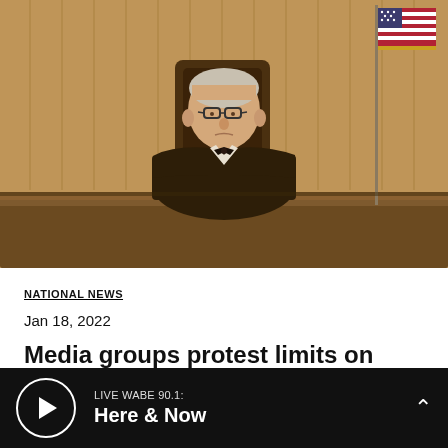[Figure (illustration): Courtroom sketch of a judge in black robes and bow tie seated at a bench, wearing glasses, with an American flag visible in the background. Drawn in brown/tan tones.]
NATIONAL NEWS
Jan 18, 2022
Media groups protest limits on access to trial for ex-officers in George Floyd death
LIVE WABE 90.1: Here & Now